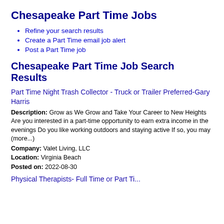Chesapeake Part Time Jobs
Refine your search results
Create a Part Time email job alert
Post a Part Time job
Chesapeake Part Time Job Search Results
Part Time Night Trash Collector - Truck or Trailer Preferred-Gary Harris
Description: Grow as We Grow and Take Your Career to New Heights Are you interested in a part-time opportunity to earn extra income in the evenings Do you like working outdoors and staying active If so, you may (more...)
Company: Valet Living, LLC
Location: Virginia Beach
Posted on: 2022-08-30
Physical Therapists- Full Time or Part Ti...